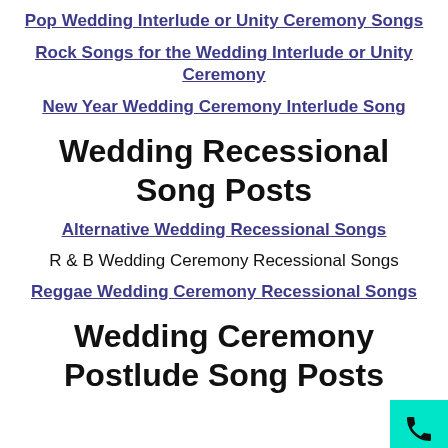Pop Wedding Interlude or Unity Ceremony Songs
Rock Songs for the Wedding Interlude or Unity Ceremony
New Year Wedding Ceremony Interlude Song
Wedding Recessional Song Posts
Alternative Wedding Recessional Songs
R & B Wedding Ceremony Recessional Songs
Reggae Wedding Ceremony Recessional Songs
Wedding Ceremony Postlude Song Posts